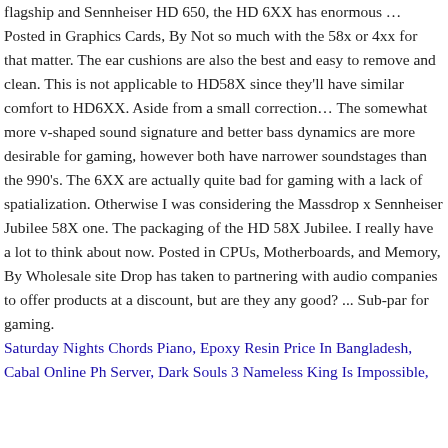flagship and Sennheiser HD 650, the HD 6XX has enormous … Posted in Graphics Cards, By Not so much with the 58x or 4xx for that matter. The ear cushions are also the best and easy to remove and clean. This is not applicable to HD58X since they'll have similar comfort to HD6XX. Aside from a small correction… The somewhat more v-shaped sound signature and better bass dynamics are more desirable for gaming, however both have narrower soundstages than the 990's. The 6XX are actually quite bad for gaming with a lack of spatialization. Otherwise I was considering the Massdrop x Sennheiser Jubilee 58X one. The packaging of the HD 58X Jubilee. I really have a lot to think about now. Posted in CPUs, Motherboards, and Memory, By Wholesale site Drop has taken to partnering with audio companies to offer products at a discount, but are they any good? ... Sub-par for gaming.
Saturday Nights Chords Piano, Epoxy Resin Price In Bangladesh, Cabal Online Ph Server, Dark Souls 3 Nameless King Is Impossible,